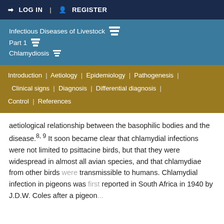LOG IN | REGISTER
Infectious Diseases of Livestock
Part 1
Chlamydiosis
Introduction | Aetiology | Epidemiology | Pathogenesis | Clinical signs | Diagnosis | Differential diagnosis | Control | References
aetiological relationship between the basophilic bodies and the disease.8, 9 It soon became clear that chlamydial infections were not limited to psittacine birds, but that they were widespread in almost all avian species, and that chlamydiae from other birds were transmissible to humans. Chlamydial infection in pigeons was first reported in South Africa in 1940 by J.D.W. Coles after a pigeon...